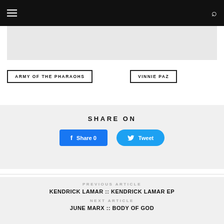Navigation bar with hamburger menu and search icon
[Figure (photo): Image placeholder area, light gray]
ARMY OF THE PHARAOHS
VINNIE PAZ
SHARE ON
Share 0 | Tweet
PREVIOUS ARTICLE
KENDRICK LAMAR :: KENDRICK LAMAR EP
NEXT ARTICLE
JUNE MARX :: BODY OF GOD